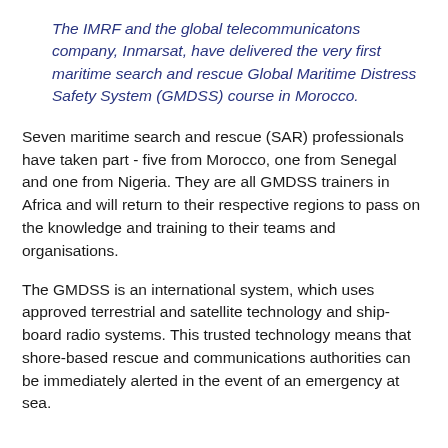The IMRF and the global telecommunicatons company, Inmarsat, have delivered the very first maritime search and rescue Global Maritime Distress Safety System (GMDSS) course in Morocco.
Seven maritime search and rescue (SAR) professionals have taken part - five from Morocco, one from Senegal and one from Nigeria. They are all GMDSS trainers in Africa and will return to their respective regions to pass on the knowledge and training to their teams and organisations.
The GMDSS is an international system, which uses approved terrestrial and satellite technology and ship-board radio systems. This trusted technology means that shore-based rescue and communications authorities can be immediately alerted in the event of an emergency at sea.